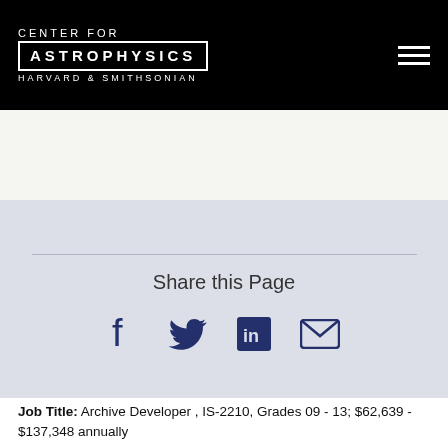CENTER FOR ASTROPHYSICS HARVARD & SMITHSONIAN
[Figure (other): Share this Page section with Facebook, Twitter, LinkedIn, and email icons on a light blue-grey background]
Job Title: Archive Developer , IS-2210, Grades 09 - 13; $62,639 - $137,348 annually
Type of Position: Permanent - Indefinite Trust Fund Appointment This is not a federal position